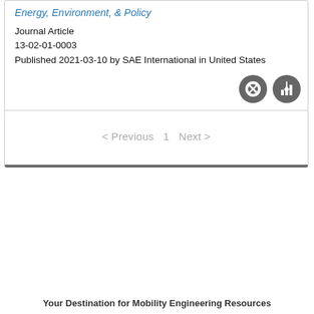Energy, Environment, & Policy
Journal Article
13-02-01-0003
Published 2021-03-10 by SAE International in United States
[Figure (other): Two circular grey icon buttons: a no-entry/restricted icon and a bar chart download icon]
< Previous  1  Next >
Your Destination for Mobility Engineering Resources